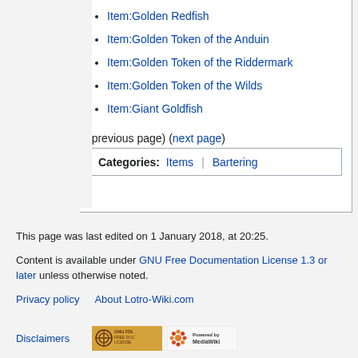Item:Golden Redfish
Item:Golden Token of the Anduin
Item:Golden Token of the Riddermark
Item:Golden Token of the Wilds
Item:Giant Goldfish
(previous page) (next page)
Categories: Items | Bartering
This page was last edited on 1 January 2018, at 20:25.
Content is available under GNU Free Documentation License 1.3 or later unless otherwise noted.
Privacy policy   About Lotro-Wiki.com
Disclaimers